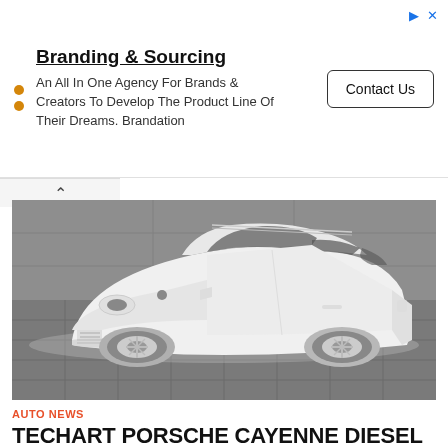[Figure (infographic): Advertisement banner for Branding & Sourcing agency with title, two orange dots, body text, and Contact Us button]
[Figure (photo): A white Porsche Cayenne SUV photographed in front of a grey concrete wall, parked on a tiled surface]
AUTO NEWS
TECHART PORSCHE CAYENNE DIESEL